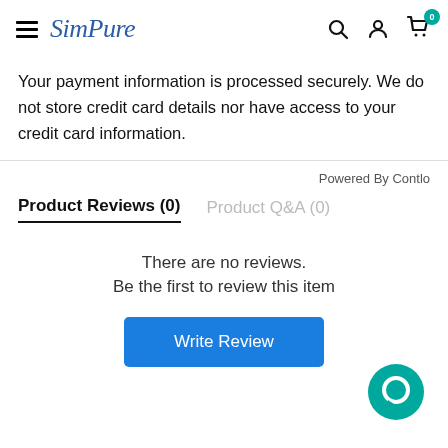SimPure
Your payment information is processed securely. We do not store credit card details nor have access to your credit card information.
Powered By Contlo
Product Reviews (0)   Product Q&A (0)
There are no reviews.
Be the first to review this item
Write Review